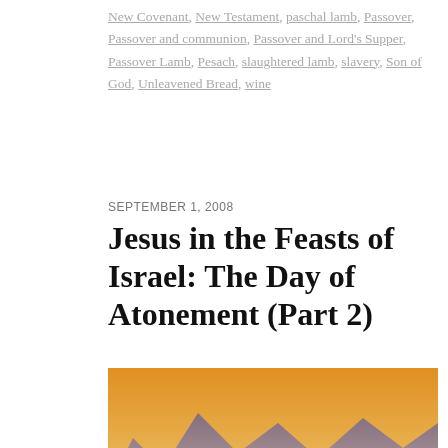New Covenant, New Testament, paschal lamb, Passover, Passover and communion, Passover and Lord's Supper, Passover Lamb, Pesach, slaughtered lamb, slavery, Son of God, Unleavened Bread, wine
SEPTEMBER 1, 2008
Jesus in the Feasts of Israel: The Day of Atonement (Part 2)
[Figure (photo): Painting of a shaggy goat with a red marking on its horns standing in a barren wilderness landscape with mountains and water in the background under a dramatic sky — depicting the scapegoat from the Day of Atonement.]